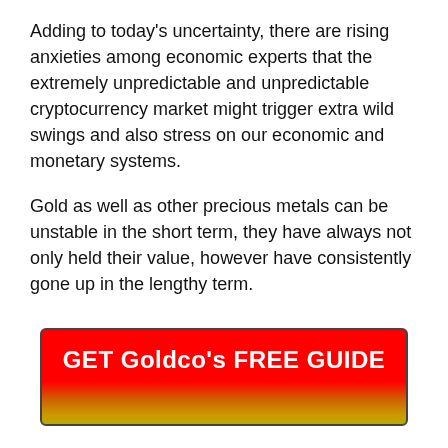Adding to today's uncertainty, there are rising anxieties among economic experts that the extremely unpredictable and unpredictable cryptocurrency market might trigger extra wild swings and also stress on our economic and monetary systems.
Gold as well as other precious metals can be unstable in the short term, they have always not only held their value, however have consistently gone up in the lengthy term.
[Figure (other): Red to gold gradient button with bold white text reading 'GET Goldco's FREE GUIDE']